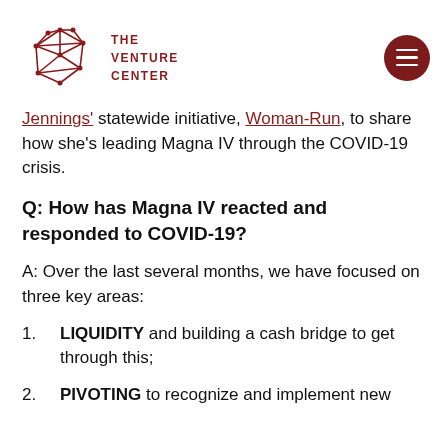[Figure (logo): The Venture Center logo — red geometric network/star shape with text THE VENTURE CENTER]
Jennings' statewide initiative, Woman-Run, to share how she's leading Magna IV through the COVID-19 crisis.
Q: How has Magna IV reacted and responded to COVID-19?
A: Over the last several months, we have focused on three key areas:
1.    LIQUIDITY and building a cash bridge to get through this;
2.    PIVOTING to recognize and implement new opportunities and...